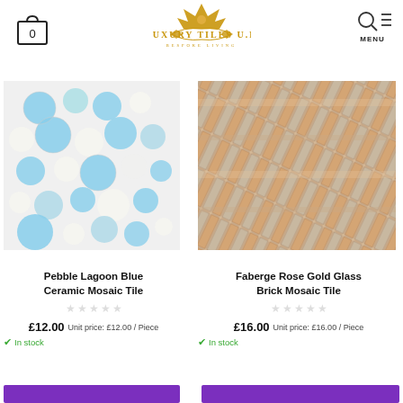[Figure (logo): Luxury Tiles U.K logo with ornate gold crown and decorative elements]
[Figure (photo): Pebble Lagoon Blue Ceramic Mosaic Tile - circular blue and white ceramic pebble tiles]
Pebble Lagoon Blue Ceramic Mosaic Tile
£12.00 Unit price: £12.00 / Piece
✓ In stock
[Figure (photo): Faberge Rose Gold Glass Brick Mosaic Tile - rose gold and beige rectangular glass brick tiles]
Faberge Rose Gold Glass Brick Mosaic Tile
£16.00 Unit price: £16.00 / Piece
✓ In stock